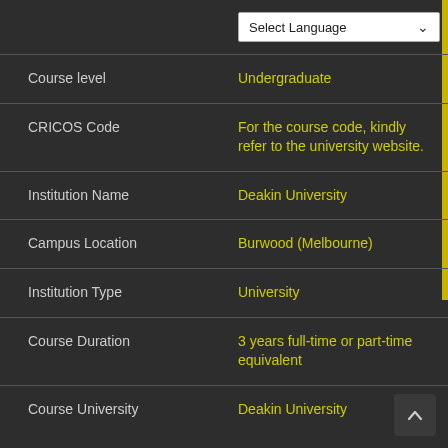| Field | Value |
| --- | --- |
| Course level | Undergraduate |
| CRICOS Code | For the course code, kindly refer to the university website. |
| Institution Name | Deakin University |
| Campus Location | Burwood (Melbourne) |
| Institution Type | University |
| Course Duration | 3 years full-time or part-time equivalent |
| Course University | Deakin University |